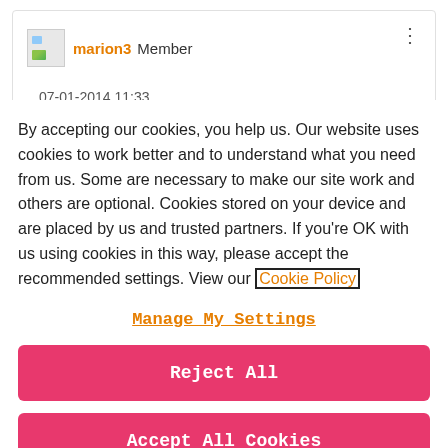[Figure (screenshot): User profile card showing avatar image, username 'marion3' in orange, 'Member' label, three-dot menu icon, and partial date '07-01-2014 11:33']
By accepting our cookies, you help us. Our website uses cookies to work better and to understand what you need from us. Some are necessary to make our site work and others are optional. Cookies stored on your device and are placed by us and trusted partners. If you're OK with us using cookies in this way, please accept the recommended settings. View our Cookie Policy
Manage My Settings
Reject All
Accept All Cookies